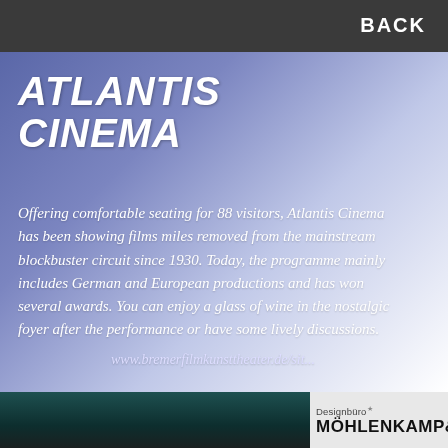BACK
ATLANTIS CINEMA
Offering comfortable seating for 88 visitors, Atlantis Cinema has been showing films miles removed from the mainstream blockbuster circuit since 1930. Today, the programme mainly includes German and European productions and has won several awards. You can enjoy a glass of wine in the nostalgic foyer after the performance or have some lively discussions.
www.bremerfilmkunsttheater.de/sit...
[Figure (photo): Bottom strip showing decorative dark teal texture image and teal accent block with Designbüro Möhlenkamp& logo on right]